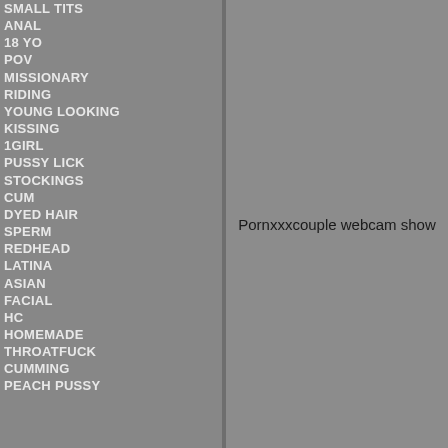SMALL TITS
ANAL
18 YO
POV
MISSIONARY
RIDING
YOUNG LOOKING
KISSING
1GIRL
PUSSY LICK
STOCKINGS
CUM
DYED HAIR
SPERM
REDHEAD
LATINA
ASIAN
FACIAL
HC
HOMEMADE
THROATFUCK
CUMMING
PEACH PUSSY
Pornxxxcouple webcam show